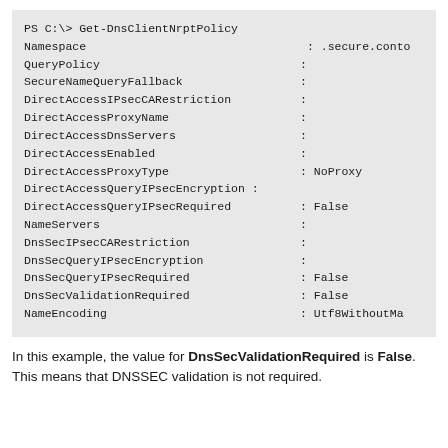[Figure (screenshot): PowerShell terminal output showing Get-DnsClientNrptPolicy command results with properties like Namespace, QueryPolicy, DirectAccessProxyType: NoProxy, DirectAccessQueryIPsecRequired: False, DnsSecQueryIPsecRequired: False, DnsSecValidationRequired: False, NameEncoding: Utf8WithoutMa...]
In this example, the value for DnsSecValidationRequired is False. This means that DNSSEC validation is not required.